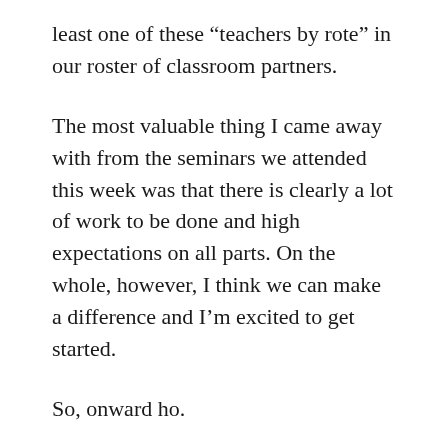least one of these “teachers by rote” in our roster of classroom partners.
The most valuable thing I came away with from the seminars we attended this week was that there is clearly a lot of work to be done and high expectations on all parts. On the whole, however, I think we can make a difference and I’m excited to get started.
So, onward ho.
To Shintomi-cho, on the eastern shores of Miyazaki Prefecture, on the largest of the southernmost islands, Kyushu.